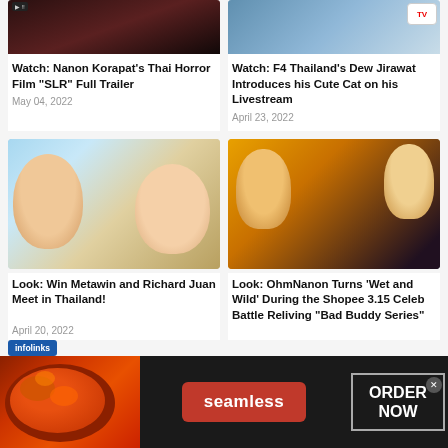[Figure (photo): Top-left partial photo of Nanon Korapat Thai Horror Film SLR]
[Figure (photo): Top-right partial photo of F4 Thailand Dew Jirawat with TV logo badge]
Watch: Nanon Korapat's Thai Horror Film "SLR" Full Trailer
May 04, 2022
Watch: F4 Thailand's Dew Jirawat Introduces his Cute Cat on his Livestream
April 23, 2022
[Figure (photo): Photo of Win Metawin and Richard Juan smiling together]
[Figure (photo): Photo of OhmNanon at Shopee 3.15 Celeb Battle]
Look: Win Metawin and Richard Juan Meet in Thailand!
April 20, 2022
Look: OhmNanon Turns 'Wet and Wild' During the Shopee 3.15 Celeb Battle Reliving "Bad Buddy Series"
[Figure (other): Seamless food delivery advertisement banner with pizza image, seamless red button, and ORDER NOW button]
infolinks